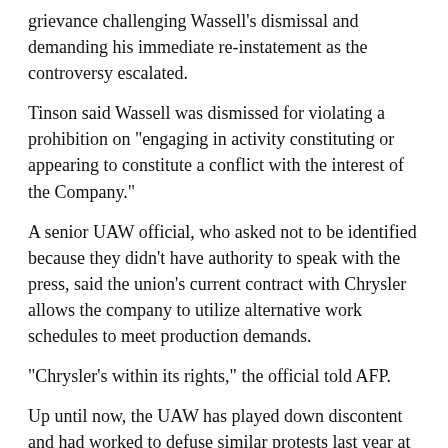grievance challenging Wassell's dismissal and demanding his immediate re-instatement as the controversy escalated.
Tinson said Wassell was dismissed for violating a prohibition on "engaging in activity constituting or appearing to constitute a conflict with the interest of the Company."
A senior UAW official, who asked not to be identified because they didn't have authority to speak with the press, said the union's current contract with Chrysler allows the company to utilize alternative work schedules to meet production demands.
"Chrysler's within its rights," the official told AFP.
Up until now, the UAW has played down discontent and had worked to defuse similar protests last year at Chrysler plants in Trenton, Michigan and Kokomo, Indiana.